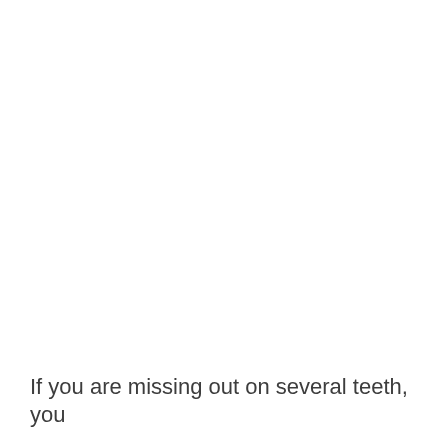If you are missing out on several teeth, you